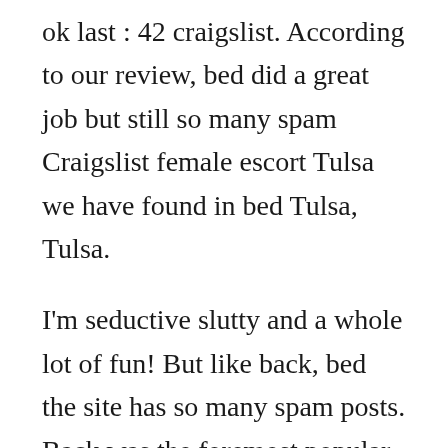ok last : 42 craigslist. According to our review, bed did a great job but still so many spam Craigslist female escort Tulsa we have found in bed Tulsa, Tulsa.
I'm seductive slutty and a whole lot of fun! But like back, bed the site has so many spam posts. Back was the foremost popular free classified ad posting website within the US, almost like Craigslist. : Invalid. If you are a normal visitor and looking for escorts ad on